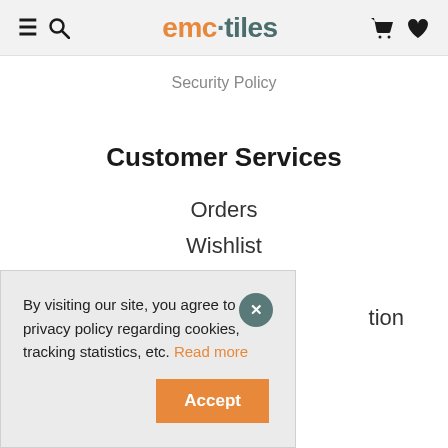[Figure (logo): EMC Tiles logo with hamburger menu, search icon on left; cart and heart icons on right in a light grey header bar]
Security Policy
Customer Services
Orders
Wishlist
My Account
By visiting our site, you agree to our privacy policy regarding cookies, tracking statistics, etc. Read more
Accept